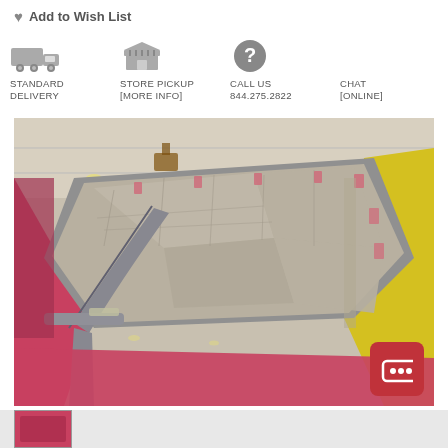♥ Add to Wish List
[Figure (infographic): Four delivery/contact options: Standard Delivery (truck icon), Store Pickup (store icon with [More Info]), Call Us 844.275.2822 (question mark icon), Chat [Online]]
[Figure (photo): Photo of a car roof interior showing heat shield insulation material applied to the underside of the roof panel, inside an industrial workshop. The car body is red/pink with yellow visible on the right side.]
[Figure (photo): Bottom strip showing partial thumbnail of another product image]